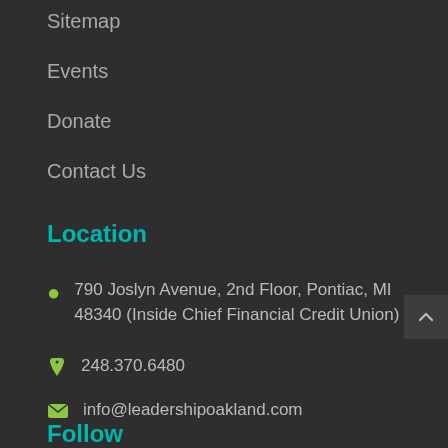Sitemap
Events
Donate
Contact Us
Location
790 Joslyn Avenue, 2nd Floor, Pontiac, MI 48340 (Inside Chief Financial Credit Union)
248.370.6480
info@leadershipoakland.com
Follow